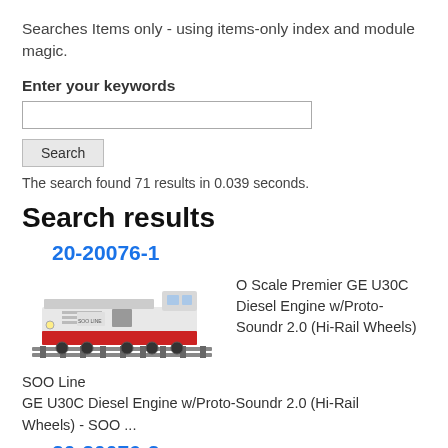Searches Items only - using items-only index and module magic.
Enter your keywords
[search input field]
Search [button]
The search found 71 results in 0.039 seconds.
Search results
20-20076-1
[Figure (photo): Photo of an O Scale Premier GE U30C Diesel Engine locomotive model, white and red, on track rails.]
O Scale Premier GE U30C Diesel Engine w/Proto-Soundr 2.0 (Hi-Rail Wheels)
SOO Line
GE U30C Diesel Engine w/Proto-Soundr 2.0 (Hi-Rail Wheels) - SOO ...
20-20076-2 (partial, cut off at bottom)